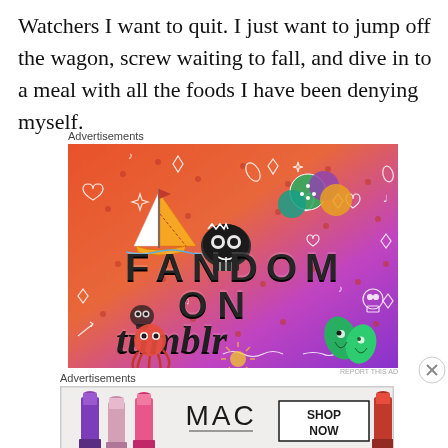Watchers I want to quit. I just want to jump off the wagon, screw waiting to fall, and dive in to a meal with all the foods I have been denying myself.
Advertisements
[Figure (illustration): Fandom on Tumblr advertisement banner with colorful orange-to-purple gradient background, doodle illustrations of a sailboat, skull, dice, leaves, sun, and the text 'FANDOM ON tumblr']
Advertisements
[Figure (illustration): MAC cosmetics advertisement showing lipsticks and the MAC logo with 'SHOP NOW' button]